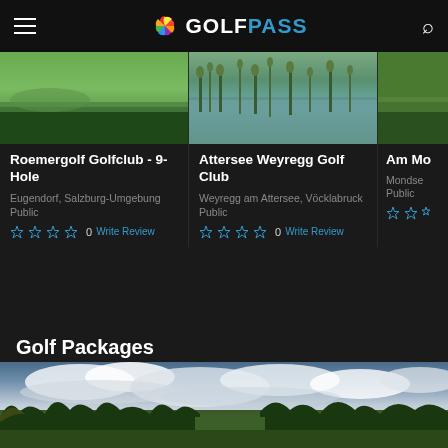GolfPass - NBC Sports app header
[Figure (screenshot): Golf course green with fairway - card 1 image for Roemergolf Golfclub]
Roemergolf Golfclub - 9-Hole
Eugendorf, Salzburg-Umgebung
Public
0  Write Review
[Figure (screenshot): Pond with reeds and water - card 2 image for Attersee Weyregg Golf Club]
Attersee Weyregg Golf Club
Weyregg am Attersee, Vöcklabruck
Public
0  Write Review
[Figure (screenshot): Partial third card - Am Mo... golf club, partially visible]
Am Mo
Mondse
Public
Golf Packages
[Figure (photo): Wide panoramic golf course landscape with dramatic cloudy sky, trees lining fairway]